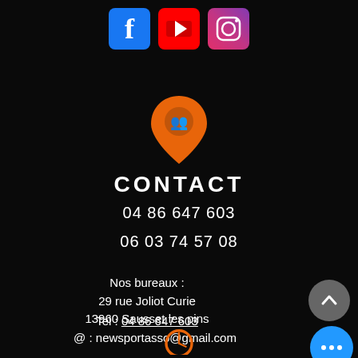[Figure (logo): Three social media icons: Facebook (blue), YouTube (red), Instagram (gradient purple/orange)]
[Figure (illustration): Orange map location pin icon with group/people symbol inside]
CONTACT
04 86 647 603
06 03 74 57 08
Nos bureaux :
29 rue Joliot Curie
13960 Sausset les pins
Tel : 04 86 647 603
@ : newsportasso@gmail.com
[Figure (illustration): Grey circular up-arrow button (scroll to top)]
[Figure (illustration): Blue circular button with three white dots (more options)]
[Figure (illustration): Orange clock icon partially visible at bottom]